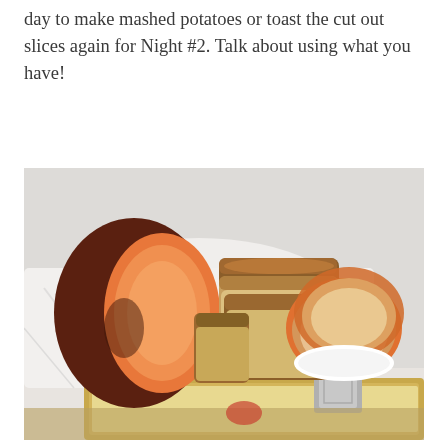day to make mashed potatoes or toast the cut out slices again for Night #2. Talk about using what you have!
[Figure (photo): A sweet potato cut in half showing the orange flesh, with sliced pieces of sweet potato arranged on a white cloth, and round cut-out slices stacked near a metal cookie cutter, with a gold baking sheet in the foreground.]